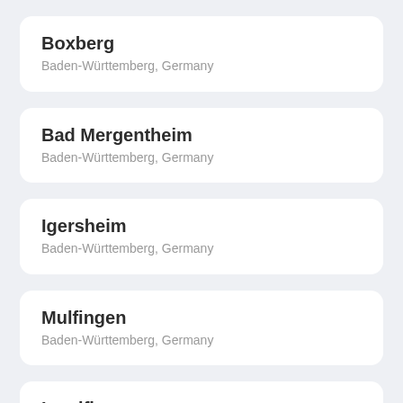Boxberg
Baden-Württemberg, Germany
Bad Mergentheim
Baden-Württemberg, Germany
Igersheim
Baden-Württemberg, Germany
Mulfingen
Baden-Württemberg, Germany
Ingelfingen